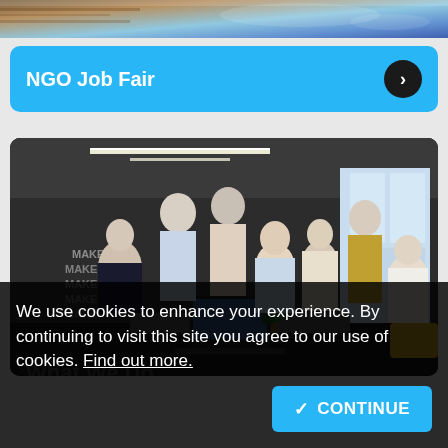[Figure (photo): Partial top image strip showing a colorful/textured background — cropped top portion of a banner or slideshow image.]
NGO Job Fair
[Figure (photo): Office meeting photo showing a group of young professionals gathered around a table with a laptop, in a modern open-plan workspace. Wall text reads MAKE IT on the left side.]
We use cookies to enhance your experience. By continuing to visit this site you agree to our use of cookies. Find out more.